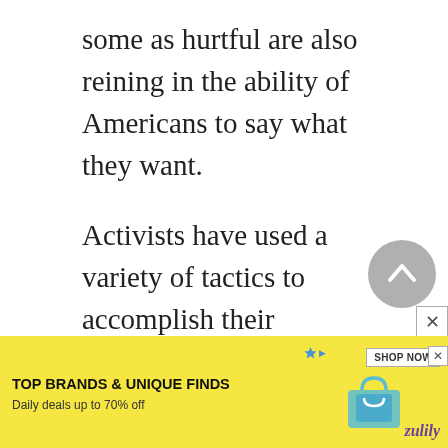some as hurtful are also reining in the ability of Americans to say what they want.
Activists have used a variety of tactics to accomplish their objectives. They have exploited exceptions to the First Amendment to silence voices counter to their ideology. And they have persuaded universities to impose drastic speech codes on students and faculty, turning institutions that were supposed to be sup...
[Figure (other): Advertisement banner: yellow background with text 'TOP BRANDS & UNIQUE FINDS', 'Daily deals up to 70% off', shop now button, bag image, and Zulily logo]